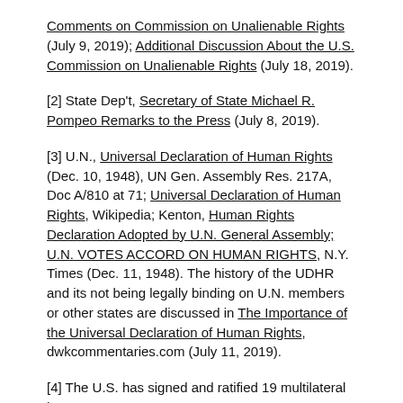Comments on Commission on Unalienable Rights (July 9, 2019); Additional Discussion About the U.S. Commission on Unalienable Rights (July 18, 2019).
[2] State Dep't, Secretary of State Michael R. Pompeo Remarks to the Press (July 8, 2019).
[3] U.N., Universal Declaration of Human Rights (Dec. 10, 1948), UN Gen. Assembly Res. 217A, Doc A/810 at 71; Universal Declaration of Human Rights, Wikipedia; Kenton, Human Rights Declaration Adopted by U.N. General Assembly; U.N. VOTES ACCORD ON HUMAN RIGHTS, N.Y. Times (Dec. 11, 1948). The history of the UDHR and its not being legally binding on U.N. members or other states are discussed in The Importance of the Universal Declaration of Human Rights, dwkcommentaries.com (July 11, 2019).
[4] The U.S. has signed and ratified 19 multilateral human